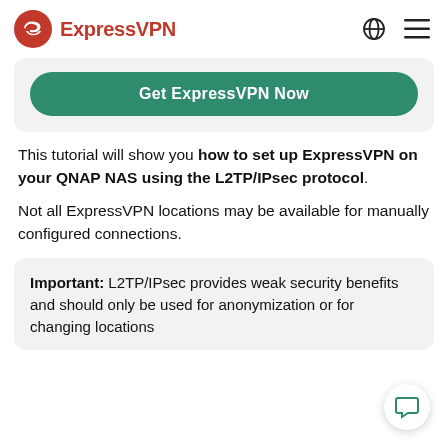ExpressVPN
[Figure (other): Get ExpressVPN Now button (green CTA button)]
This tutorial will show you how to set up ExpressVPN on your QNAP NAS using the L2TP/IPsec protocol.
Not all ExpressVPN locations may be available for manually configured connections.
Important: L2TP/IPsec provides weak security benefits and should only be used for anonymization or for changing locations